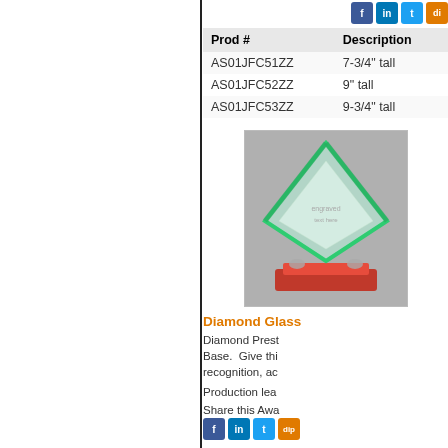| Prod # | Description |
| --- | --- |
| AS01JFC51ZZ | 7-3/4" tall |
| AS01JFC52ZZ | 9" tall |
| AS01JFC53ZZ | 9-3/4" tall |
[Figure (photo): Diamond glass award trophy with green edges and red base on gray background]
Diamond Glass
Diamond Prest Base.  Give thi recognition, ac
Production lea
Share this Awa
[Figure (other): PDF Template button]
| Prod # | Description |
| --- | --- |
| AS01JPTG71ZZ | 8-1/2" tall |
| AS01JPTG73ZZ | 9-1/2" tall |